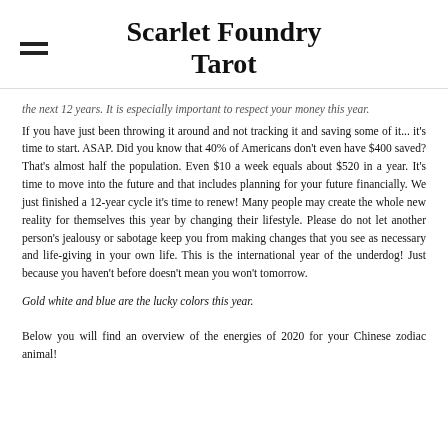Scarlet Foundry Tarot
the next 12 years. It is especially important to respect your money this year. If you have just been throwing it around and not tracking it and saving some of it... it's time to start. ASAP. Did you know that 40% of Americans don't even have $400 saved? That's almost half the population. Even $10 a week equals about $520 in a year. It's time to move into the future and that includes planning for your future financially. We just finished a 12-year cycle it's time to renew! Many people may create the whole new reality for themselves this year by changing their lifestyle. Please do not let another person's jealousy or sabotage keep you from making changes that you see as necessary and life-giving in your own life. This is the international year of the underdog! Just because you haven't before doesn't mean you won't tomorrow.
Gold white and blue are the lucky colors this year.
Below you will find an overview of the energies of 2020 for your Chinese zodiac animal!